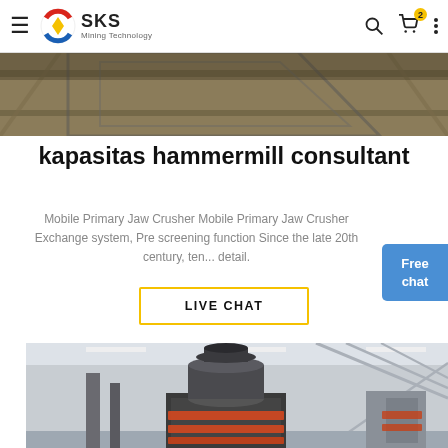SKS Mining Technology
[Figure (photo): Close-up of industrial machinery showing hexagonal metal framework and structural beams overhead]
kapasitas hammermill consultant
Mobile Primary Jaw Crusher Mobile Primary Jaw Crusher Exchange system, Pre screening function Since the late 20th century, ten... detail.
[Figure (other): LIVE CHAT button with yellow border]
[Figure (photo): Industrial facility interior showing a large vertical cone crusher or similar heavy mining equipment mounted on a frame inside a warehouse with steel trusses]